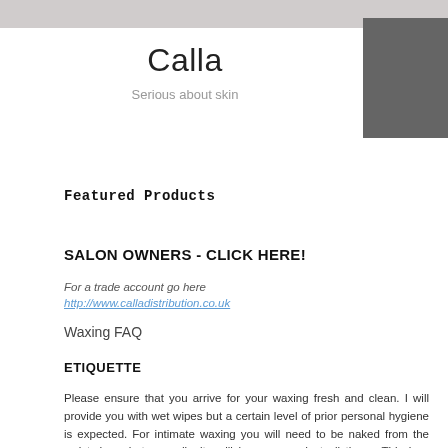Calla
Serious about skin
Featured Products
SALON OWNERS - CLICK HERE!
For a trade account go here
http://www.calladistribution.co.uk
Waxing FAQ
ETIQUETTE
Please ensure that you arrive for your waxing fresh and clean. I will provide you with wet wipes but a certain level of prior personal hygiene is expected. For intimate waxing you will need to be naked from the waist down but your dignity will be preserved at all times. This is a professional waxing service, nothing else. Please don't humiliate yourself or offend me by